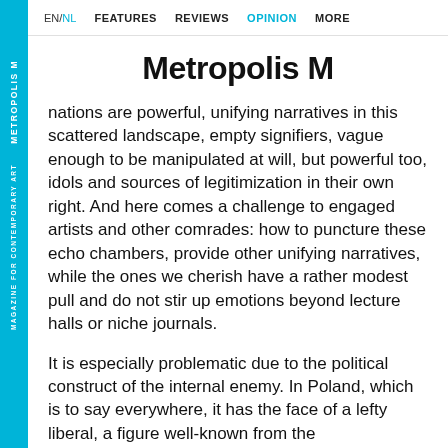EN/NL  FEATURES  REVIEWS  OPINION  MORE
Metropolis M
nations are powerful, unifying narratives in this scattered landscape, empty signifiers, vague enough to be manipulated at will, but powerful too, idols and sources of legitimization in their own right. And here comes a challenge to engaged artists and other comrades: how to puncture these echo chambers, provide other unifying narratives, while the ones we cherish have a rather modest pull and do not stir up emotions beyond lecture halls or niche journals.
It is especially problematic due to the political construct of the internal enemy. In Poland, which is to say everywhere, it has the face of a lefty liberal, a figure well-known from the
METROPOLIS M  MAGAZINE FOR CONTEMPORARY ART